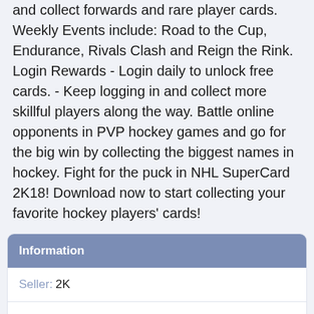and collect forwards and rare player cards. Weekly Events include: Road to the Cup, Endurance, Rivals Clash and Reign the Rink. Login Rewards - Login daily to unlock free cards. - Keep logging in and collect more skillful players along the way. Battle online opponents in PVP hockey games and go for the big win by collecting the biggest names in hockey. Fight for the puck in NHL SuperCard 2K18! Download now to start collecting your favorite hockey players' cards!
| Field | Value |
| --- | --- |
| Seller: | 2K |
| Genre: | Card, Sports |
| Release: | Oct 10, 2017 |
| Updated: | Feb 14, 2018 |